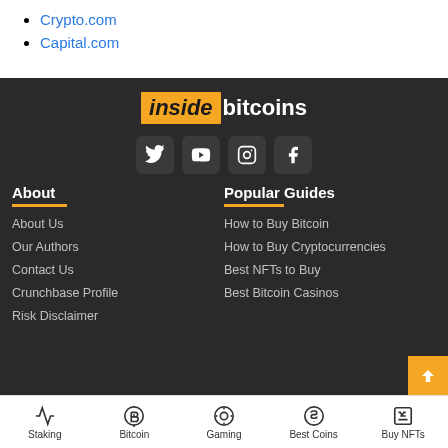Crypto.com
Capital.com
[Figure (logo): Inside Bitcoins logo with orange 'inside' box and white 'bitcoins' text on dark background]
[Figure (infographic): Social media icons: Twitter, YouTube, Instagram, Facebook]
About
Popular Guides
About Us
How to Buy Bitcoin
Our Authors
How to Buy Cryptocurrencies
Contact Us
Best NFTs to Buy
Crunchbase Profile
Best Bitcoin Casinos
Risk Disclaimer
Staking | Bitcoin | Gaming | Best Coins | Buy NFTs